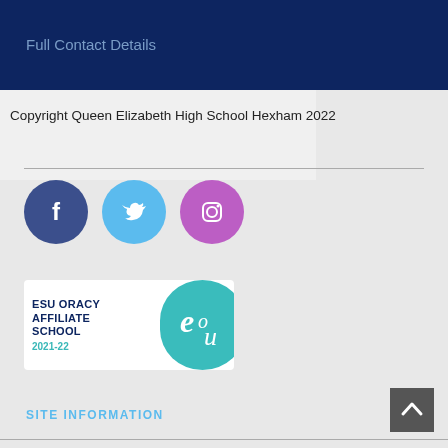Full Contact Details
Copyright Queen Elizabeth High School Hexham 2022
[Figure (illustration): Three social media icons: Facebook (dark blue circle with 'f'), Twitter (light blue circle with bird logo), Instagram (purple circle with camera logo)]
[Figure (logo): ESU Oracy Affiliate School 2021-22 badge with teal circular logo containing stylized 'esu' letters]
SITE INFORMATION